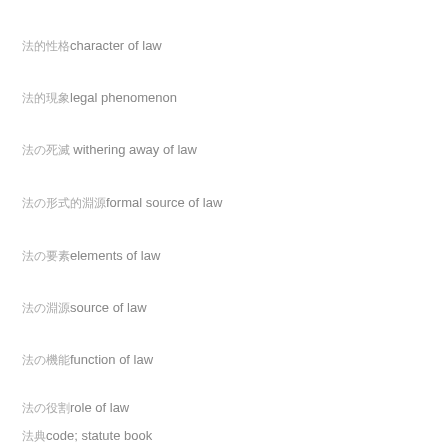法的性格 character of law
法的現象 legal phenomenon
法の死滅 withering away of law
法の形式的淵源 formal source of law
法の要素 elements of law
法の淵源 source of law
法の機能 function of law
法の役割 role of law
法典 code; statute book